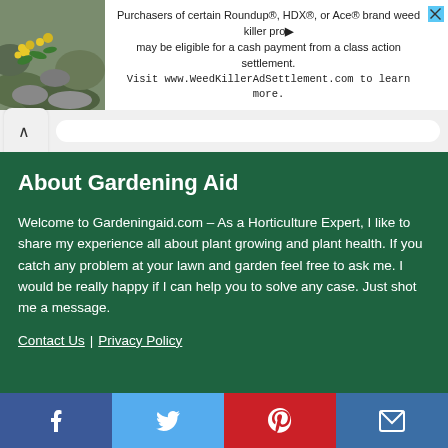[Figure (screenshot): Advertisement banner: image of yellow flowers on rocks on left; text about Roundup/HDX/Ace weed killer class action settlement, visit www.WeedKillerAdSettlement.com to learn more]
About Gardening Aid
Welcome to Gardeningaid.com – As a Horticulture Expert, I like to share my experience all about plant growing and plant health. If you catch any problem at your lawn and garden feel free to ask me. I would be really happy if I can help you to solve any case. Just shot me a message.
Contact Us | Privacy Policy
Top Category
Plant Health
[Figure (infographic): Social media share bar with Facebook, Twitter, Pinterest, and Email icons]